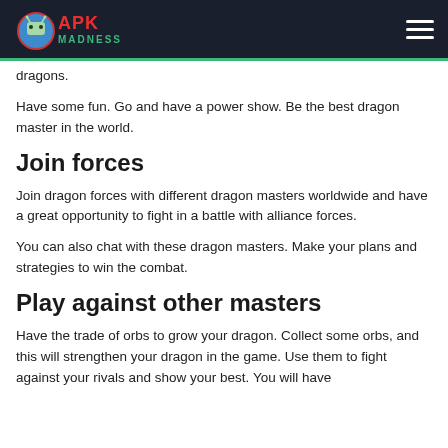APK Madness
dragons.
Have some fun. Go and have a power show. Be the best dragon master in the world.
Join forces
Join dragon forces with different dragon masters worldwide and have a great opportunity to fight in a battle with alliance forces.
You can also chat with these dragon masters. Make your plans and strategies to win the combat.
Play against other masters
Have the trade of orbs to grow your dragon. Collect some orbs, and this will strengthen your dragon in the game. Use them to fight against your rivals and show your best. You will have